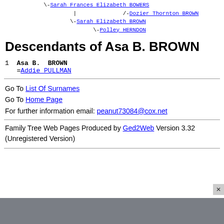[Figure (other): Genealogy ancestor tree showing: \-Sarah Frances Elizabeth BOWERS, then /-Dozier Thornton BROWN, \-Sarah Elizabeth BROWN, \-Polley HERNDON]
Descendants of Asa B. BROWN
1  Asa B.  BROWN
   =Addie PULLMAN
Go To List Of Surnames
Go To Home Page
For further information email: peanut73084@cox.net
Family Tree Web Pages Produced by Ged2Web Version 3.32 (Unregistered Version)